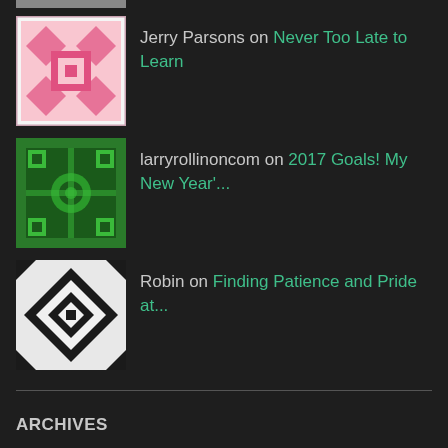Jerry Parsons on Never Too Late to Learn
larryrollinoncom on 2017 Goals! My New Year'...
Robin on Finding Patience and Pride at...
ARCHIVES
March 2017
February 2017
January 2017